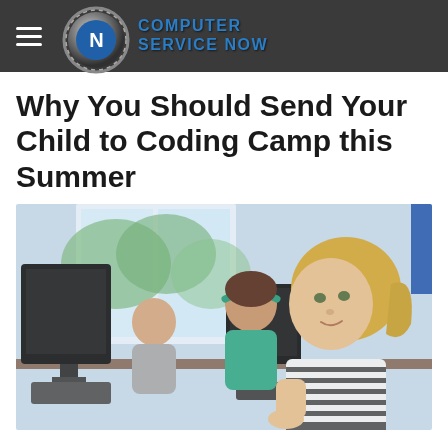COMPUTER SERVICE NOW
Why You Should Send Your Child to Coding Camp this Summer
[Figure (photo): Children sitting at computers in a classroom setting. In the foreground, a blonde girl in a striped shirt looks at a monitor. Behind her, a girl with a teal headband, and further back a boy in a grey shirt. Computers and bright windows are visible in the background.]